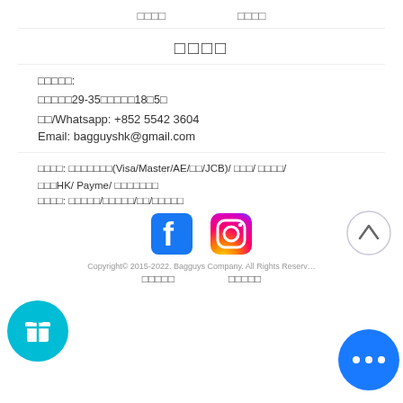□□□□    □□□□
□□□□
□□□□□:
□□□□□29-35□□□□□18□5□
□□/Whatsapp: +852 5542 3604
Email: bagguyshk@gmail.com
□□□□: □□□□□□□(Visa/Master/AE/□□/JCB)/ □□□/ □□□□/ □□□HK/ Payme/ □□□□□□□
□□□□: □□□□□/□□□□□/□□/□□□□□
[Figure (logo): Facebook logo icon]
[Figure (logo): Instagram logo icon]
[Figure (illustration): Up arrow circle button]
[Figure (illustration): Gift/loyalty cyan circle button]
Copyright© 2015-2022. Bagguys Company. All Rights Reserved
□□□□□    □□□□□
[Figure (illustration): More options blue circle button]